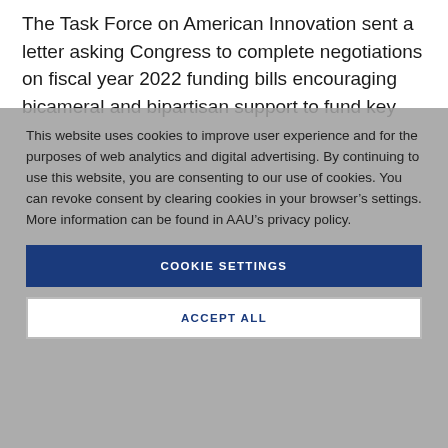The Task Force on American Innovation sent a letter asking Congress to complete negotiations on fiscal year 2022 funding bills encouraging bicameral and bipartisan support to fund key
This website uses cookies to improve user experience and for the purposes of web analytics and digital advertising. By continuing to use this website, you are consenting to our use of cookies. You can revoke consent by clearing cookies in your browser's settings. More information can be found in AAU's privacy policy.
COOKIE SETTINGS
ACCEPT ALL